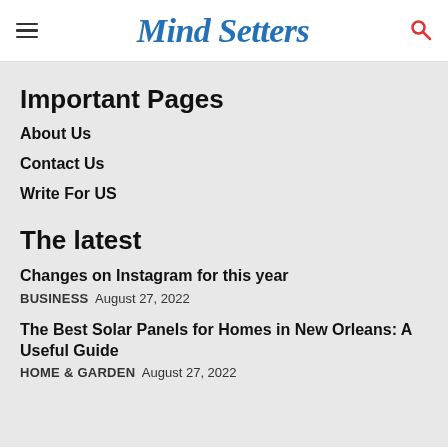Mind Setters
Important Pages
About Us
Contact Us
Write For US
The latest
Changes on Instagram for this year
BUSINESS  August 27, 2022
The Best Solar Panels for Homes in New Orleans: A Useful Guide
HOME & GARDEN  August 27, 2022